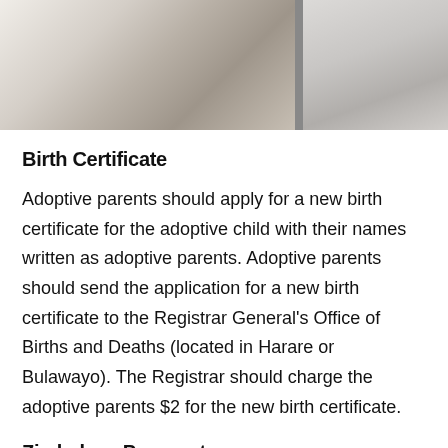[Figure (photo): Photo of hands holding documents/papers, split into two panels side by side]
Birth Certificate
Adoptive parents should apply for a new birth certificate for the adoptive child with their names written as adoptive parents. Adoptive parents should send the application for a new birth certificate to the Registrar General's Office of Births and Deaths (located in Harare or Bulawayo). The Registrar should charge the adoptive parents $2 for the new birth certificate.
Zimbabwe Passport